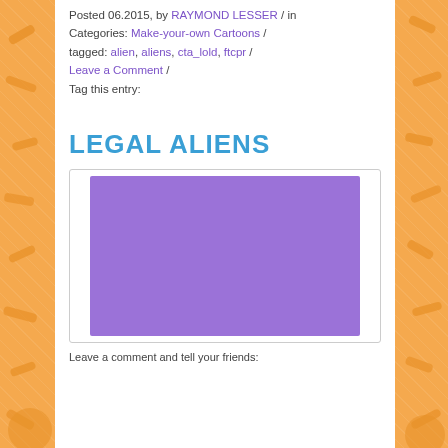Posted 06.2015, by RAYMOND LESSER / in Categories: Make-your-own Cartoons / tagged: alien, aliens, cta_lold, ftcpr / Leave a Comment / Tag this entry:
LEGAL ALIENS
[Figure (illustration): A purple/violet rectangle placeholder image inside a light gray bordered box]
Leave a comment and tell your friends: